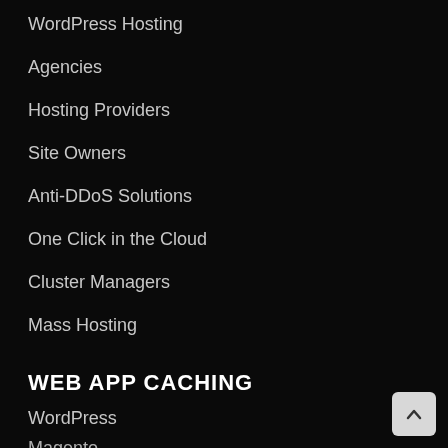WordPress Hosting
Agencies
Hosting Providers
Site Owners
Anti-DDoS Solutions
One Click in the Cloud
Cluster Managers
Mass Hosting
WEB APP CACHING
WordPress
Magento
Joomla